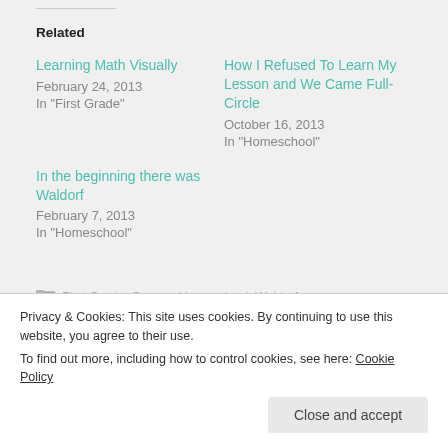Related
Learning Math Visually
February 24, 2013
In "First Grade"
How I Refused To Learn My Lesson and We Came Full-Circle
October 16, 2013
In "Homeschool"
In the beginning there was Waldorf
February 7, 2013
In "Homeschool"
First Grade, Games, Homeschool, Waldorf
Privacy & Cookies: This site uses cookies. By continuing to use this website, you agree to their use.
To find out more, including how to control cookies, see here: Cookie Policy
Close and accept